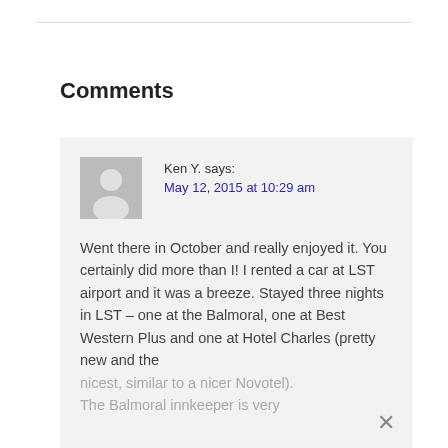Comments
Ken Y. says:
May 12, 2015 at 10:29 am

Went there in October and really enjoyed it. You certainly did more than I! I rented a car at LST airport and it was a breeze. Stayed three nights in LST – one at the Balmoral, one at Best Western Plus and one at Hotel Charles (pretty new and the nicest, similar to a nicer Novotel). The Balmoral innkeeper is very